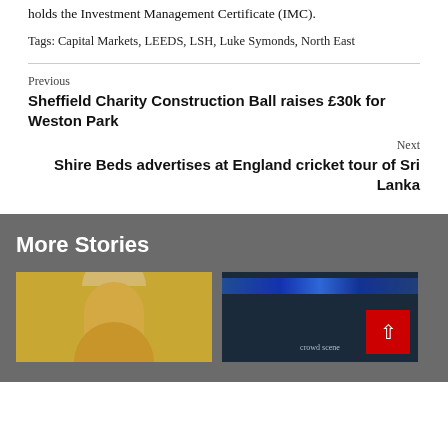holds the Investment Management Certificate (IMC).
Tags: Capital Markets, LEEDS, LSH, Luke Symonds, North East
Previous
Sheffield Charity Construction Ball raises £30k for Weston Park
Next
Shire Beds advertises at England cricket tour of Sri Lanka
More Stories
[Figure (photo): Thumbnail photo of a blonde woman against a yellow background]
[Figure (photo): Thumbnail photo of a crowd at a sporting event with bright lights]